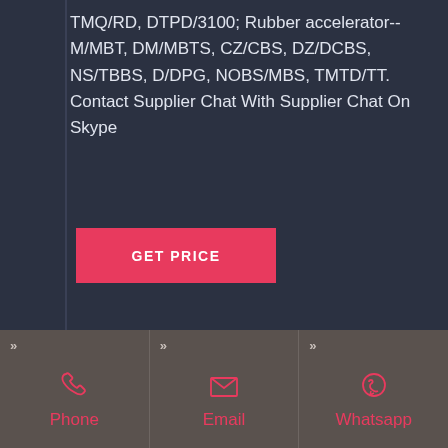TMQ/RD, DTPD/3100; Rubber accelerator-- M/MBT, DM/MBTS, CZ/CBS, DZ/DCBS, NS/TBBS, D/DPG, NOBS/MBS, TMTD/TT. Contact Supplier Chat With Supplier Chat On Skype
GET PRICE
Phone
Email
Whatsapp